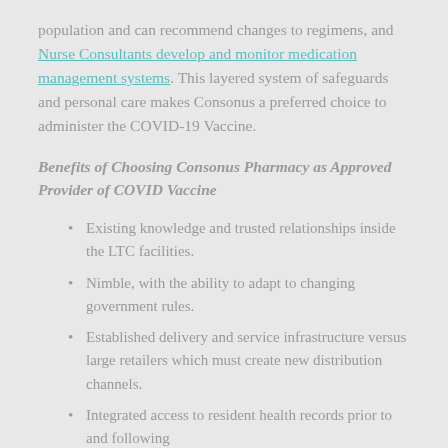population and can recommend changes to regimens, and Nurse Consultants develop and monitor medication management systems. This layered system of safeguards and personal care makes Consonus a preferred choice to administer the COVID-19 Vaccine.
Benefits of Choosing Consonus Pharmacy as Approved Provider of COVID Vaccine
Existing knowledge and trusted relationships inside the LTC facilities.
Nimble, with the ability to adapt to changing government rules.
Established delivery and service infrastructure versus large retailers which must create new distribution channels.
Integrated access to resident health records prior to and following